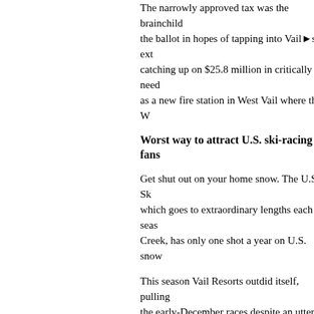The narrowly approved tax was the brainchild of the ballot in hopes of tapping into Vail◆s ext catching up on $25.8 million in critically need as a new fire station in West Vail where the W
Worst way to attract U.S. ski-racing fans
Get shut out on your home snow. The U.S. Sk which goes to extraordinary lengths each seas Creek, has only one shot a year on U.S. snow
This season Vail Resorts outdid itself, pulling the early-December races despite an utter lack December snowfall put both Vail and Beaver
The U.S. squad, minus the enigmatic Bode M independently for his newly formed Team Am races, breaking a string of four consecutive dó
To be fair, Steve Nyman, of Provo, Utah, verу Michael Walchhofer. Miller was no higher tha although he did win a downhill later in Decem with 26 career victories and pull within one w man (27).
Best way to attract American ski-racing fa
Be young, dynamic, attractive and a winner. A in all of the things, which bе